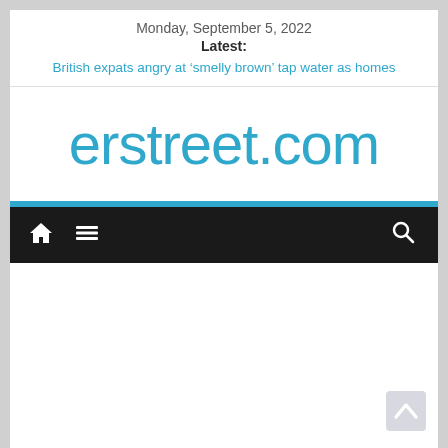Monday, September 5, 2022
Latest:
British expats angry at ‘smelly brown’ tap water as homes
erstreet.com
[Figure (screenshot): Navigation bar with home icon, hamburger menu icon on the left, and search icon on the right, on a dark background]